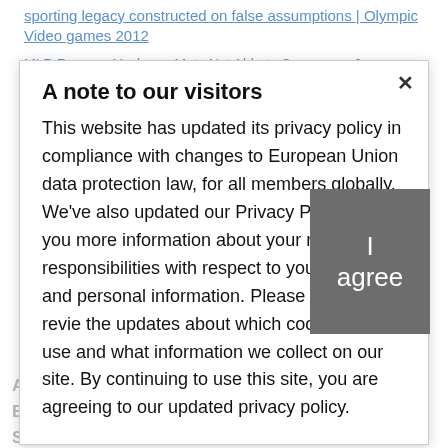sporting legacy constructed on false assumptions | Olympic Video games 2012
MLB Rumors: Yankees, Mets Not Able to Commerce Juan Soto's Prime Three; Rangers need to hold Perez
A note to our visitors
This website has updated its privacy policy in compliance with changes to European Union data protection law, for all members globally. We've also updated our Privacy Policy to give you more information about your rights and responsibilities with respect to your privacy and personal information. Please read this to review the updates about which cookies we use and what information we collect on our site. By continuing to use this site, you are agreeing to our updated privacy policy.
I agree
Recent Comments
ANIMAL
BEAUTY
SPORT